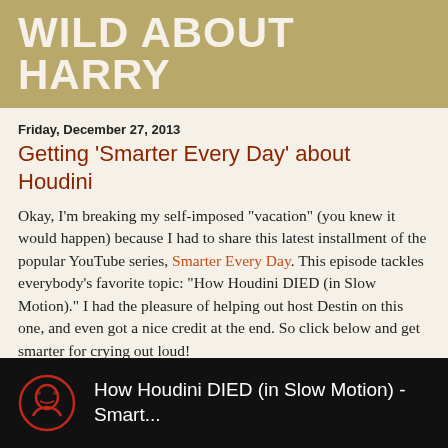WILD ABOUT HARRY
Friday, December 27, 2013
Getting 'Smarter Every Day' about Houdini
Okay, I'm breaking my self-imposed "vacation" (you knew it would happen) because I had to share this latest installment of the popular YouTube series, Smarter Every Day. This episode tackles everybody's favorite topic: "How Houdini DIED (in Slow Motion)." I had the pleasure of helping out host Destin on this one, and even got a nice credit at the end. So click below and get smarter for crying out loud!
[Figure (screenshot): Video thumbnail showing a red glowing head icon and the text 'How Houdini DIED (in Slow Motion) - Smart...' on a black background]